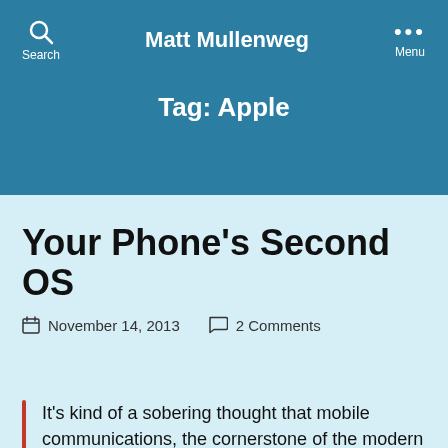Matt Mullenweg
Tag: Apple
Your Phone's Second OS
November 14, 2013   2 Comments
It’s kind of a sobering thought that mobile communications, the cornerstone of the modern world in both developed and developing regions, pivots around software that is of dubious quality